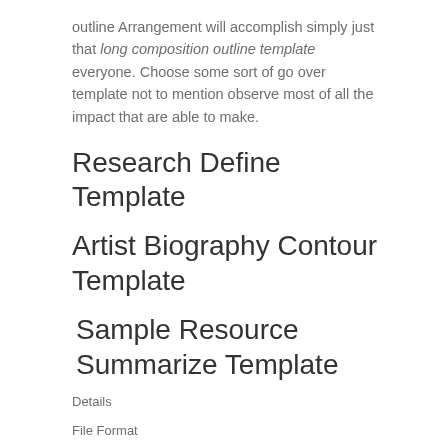outline Arrangement will accomplish simply just that long composition outline template everyone. Choose some sort of go over template not to mention observe most of all the impact that are able to make.
Research Define Template
Artist Biography Contour Template
Sample Resource Summarize Template
Details
File Format
Microsoft Word
Apple Pages
Portable Documents
Download